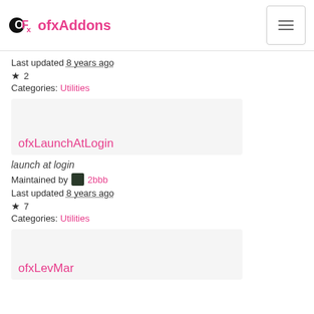ofxAddons
Last updated 8 years ago
★ 2
Categories: Utilities
[Figure (screenshot): Addon card for ofxLaunchAtLogin]
launch at login
Maintained by 2bbb
Last updated 8 years ago
★ 7
Categories: Utilities
[Figure (screenshot): Addon card for ofxLevMar]